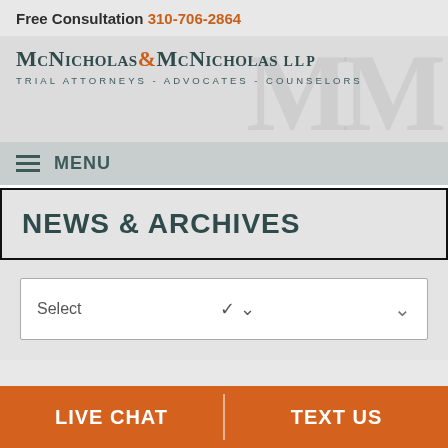Free Consultation 310-706-2864
[Figure (logo): McNicholas & McNicholas LLP law firm logo with MM watermark. Text reads: McNicholas & McNicholas LLP — Trial Attorneys - Advocates - Counselors]
MENU
NEWS & ARCHIVES
Select
LIVE CHAT | TEXT US